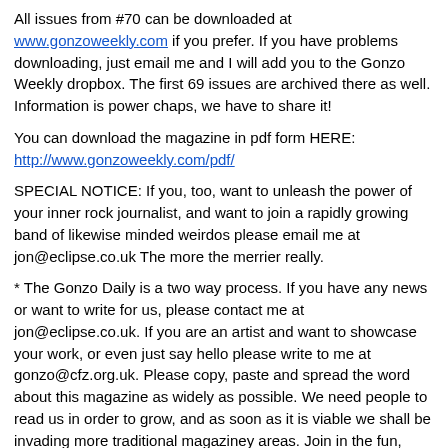All issues from #70 can be downloaded at www.gonzoweekly.com if you prefer. If you have problems downloading, just email me and I will add you to the Gonzo Weekly dropbox. The first 69 issues are archived there as well. Information is power chaps, we have to share it!
You can download the magazine in pdf form HERE:
http://www.gonzoweekly.com/pdf/
SPECIAL NOTICE: If you, too, want to unleash the power of your inner rock journalist, and want to join a rapidly growing band of likewise minded weirdos please email me at jon@eclipse.co.uk The more the merrier really.
* The Gonzo Daily is a two way process. If you have any news or want to write for us, please contact me at jon@eclipse.co.uk. If you are an artist and want to showcase your work, or even just say hello please write to me at gonzo@cfz.org.uk. Please copy, paste and spread the word about this magazine as widely as possible. We need people to read us in order to grow, and as soon as it is viable we shall be invading more traditional magaziney areas. Join in the fun, spread the word, and maybe if we all chant loud enough we CAN stop it raining. See you tomorrow...
* The Gonzo Daily is - as the name implies - a daily online magazine (mostly) about artists connected to the Gonzo Multimedia group of companies. But it also has other stuff as and when the editor feels like it. The same team also do a weekly newsletter called -